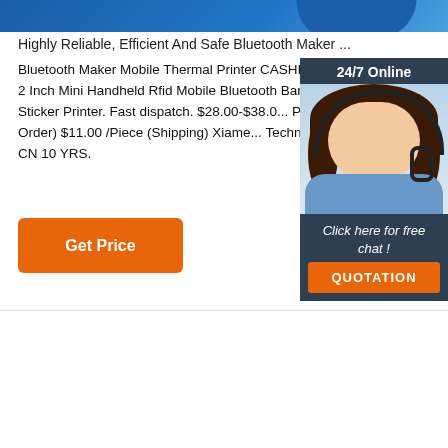[Figure (photo): Blue product image strip at the top of the page]
Highly Reliable, Efficient And Safe Bluetooth Maker ...
Bluetooth Maker Mobile Thermal Printer CASHINO KMB II 58mm 2 Inch Mini Handheld Rfid Mobile Bluetooth Barcode B... Thermal Sticker Printer. Fast dispatch. $28.00-$38.0... Pieces (Min. Order) $11.00 /Piece (Shipping) Xiame... Technology Co., Ltd. CN 10 YRS.
[Figure (photo): 24/7 Online chat widget with female agent wearing headset, 'Click here for free chat!' text and QUOTATION button]
[Figure (photo): Get Price orange button]
[Figure (photo): Necklace on black display bust stand]
[Figure (other): TOP navigation button with orange dots arranged in triangle]